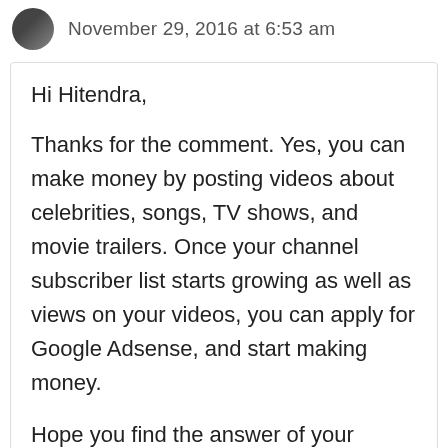November 29, 2016 at 6:53 am
Hi Hitendra,
Thanks for the comment. Yes, you can make money by posting videos about celebrities, songs, TV shows, and movie trailers. Once your channel subscriber list starts growing as well as views on your videos, you can apply for Google Adsense, and start making money.
Hope you find the answer of your question. Good luck!